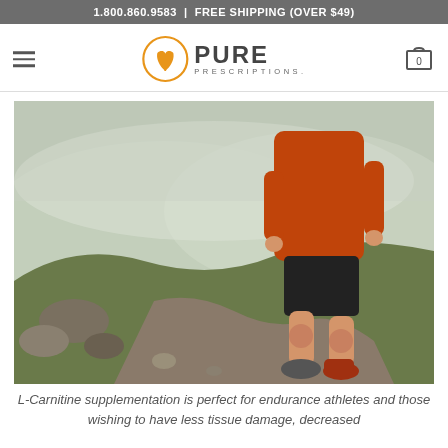1.800.860.9583 | FREE SHIPPING (OVER $49)
metabolism in volunteers.
[Figure (logo): Pure Prescriptions logo with orange circular plant/leaf emblem and the text PURE PRESCRIPTIONS]
[Figure (photo): Man in orange long-sleeve shirt and black shorts running on a mountain trail with rocky terrain and misty hills in the background]
L-Carnitine supplementation is perfect for endurance athletes and those wishing to have less tissue damage, decreased